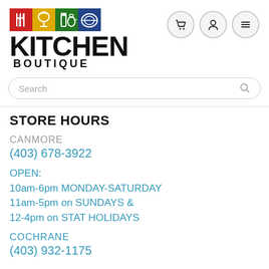[Figure (logo): Kitchen Boutique logo with colored icon squares (red, yellow, green, blue) showing kitchen utensils and tableware icons, and large bold text KITCHEN BOUTIQUE]
[Figure (other): Navigation icons: shopping cart, user profile, and hamburger menu in circular bordered buttons]
Search
STORE HOURS
CANMORE
(403) 678-3922
OPEN:
10am-6pm MONDAY-SATURDAY
11am-5pm on SUNDAYS &
12-4pm on STAT HOLIDAYS
COCHRANE
(403) 932-1175